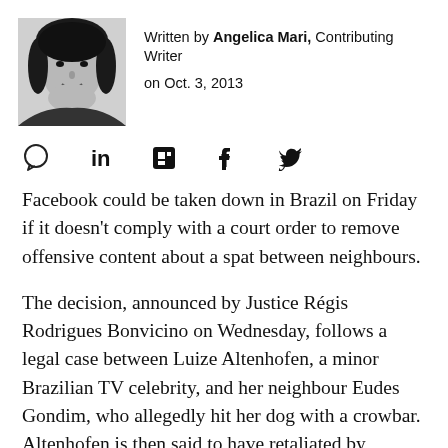[Figure (photo): Black and white headshot photo of author Angelica Mari]
Written by Angelica Mari, Contributing Writer
on Oct. 3, 2013
[Figure (infographic): Social sharing icons: comment bubble, LinkedIn, Flipboard, Facebook, Twitter]
Facebook could be taken down in Brazil on Friday if it doesn't comply with a court order to remove offensive content about a spat between neighbours.
The decision, announced by Justice Régis Rodrigues Bonvicino on Wednesday, follows a legal case between Luize Altenhofen, a minor Brazilian TV celebrity, and her neighbour Eudes Gondim, who allegedly hit her dog with a crowbar. Altenhofen is then said to have retaliated by driving into